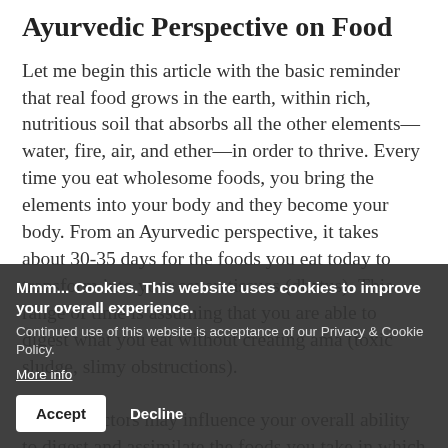Ayurvedic Perspective on Food
Let me begin this article with the basic reminder that real food grows in the earth, within rich, nutritious soil that absorbs all the other elements—water, fire, air, and ether—in order to thrive. Every time you eat wholesome foods, you bring the elements into your body and they become your body. From an Ayurvedic perspective, it takes about 30-35 days for the foods you eat today to transform into your seven tissues (dhatus). This range of time is assuming that you are able to digest what you eat without creating ama (toxic sludge, slimy obstructions). A lot of factors may influence your overall ability to digest and assimilate the foods you take in which it is why it is important to eat when you
Mmm... Cookies. This website uses cookies to improve your overall experience.
Continued use of this website is acceptance of our Privacy & Cookie Policy.
More info